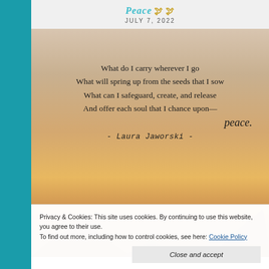Peace 🕊️🕊️
JULY 7, 2022
[Figure (photo): Sunset photo with poem overlay. Warm orange/golden sunset background with silhouetted plants. Text reads: What do I carry wherever I go / What will spring up from the seeds that I sow / What can I safeguard, create, and release / And offer each soul that I chance upon— peace. - Laura Jaworski -]
Privacy & Cookies: This site uses cookies. By continuing to use this website, you agree to their use.
To find out more, including how to control cookies, see here: Cookie Policy
Close and accept